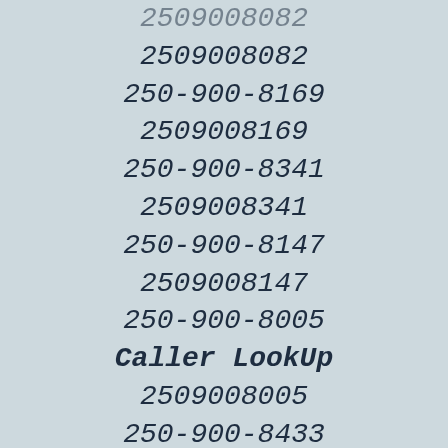2509008082
250-900-8169
2509008169
250-900-8341
2509008341
250-900-8147
2509008147
250-900-8005
Caller LookUp
2509008005
250-900-8433
2509008433
250-900-8655
2509008655
250-900-8754